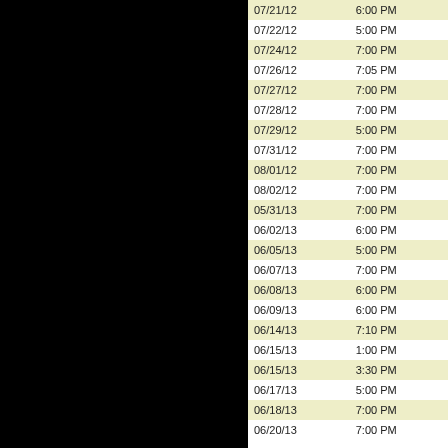| Date | Time |
| --- | --- |
| 07/21/12 | 6:00 PM |
| 07/22/12 | 5:00 PM |
| 07/24/12 | 7:00 PM |
| 07/26/12 | 7:05 PM |
| 07/27/12 | 7:00 PM |
| 07/28/12 | 7:00 PM |
| 07/29/12 | 5:00 PM |
| 07/31/12 | 7:00 PM |
| 08/01/12 | 7:00 PM |
| 08/02/12 | 7:00 PM |
| 05/31/13 | 7:00 PM |
| 06/02/13 | 6:00 PM |
| 06/05/13 | 5:00 PM |
| 06/07/13 | 7:00 PM |
| 06/08/13 | 6:00 PM |
| 06/09/13 | 6:00 PM |
| 06/14/13 | 7:10 PM |
| 06/15/13 | 1:00 PM |
| 06/15/13 | 3:30 PM |
| 06/17/13 | 5:00 PM |
| 06/18/13 | 7:00 PM |
| 06/20/13 | 7:00 PM |